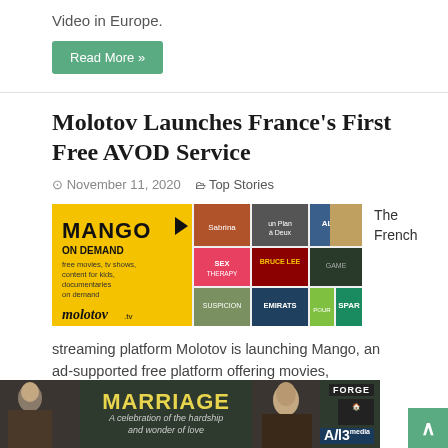Video in Europe.
Read More »
Molotov Launches France's First Free AVOD Service
November 11, 2020   Top Stories
[Figure (illustration): Mango On Demand banner showing free movies, TV shows, content for kids, documentaries on demand, with Molotov.tv logo and a grid of movie/show thumbnails including Allies, Sex Therapy, Bruce Lee, Suspicion, Emirats, Spark]
The French
streaming platform Molotov is launching Mango, an ad-supported free platform offering movies, documentaries, TV shows
[Figure (advertisement): Marriage advertisement banner with two people and logos for Forge and All3 Media]